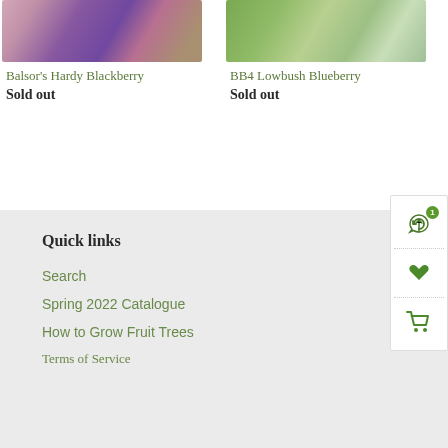[Figure (photo): Photo of berries including raspberries, blackberries, and blueberries]
Balsor's Hardy Blackberry
Sold out
[Figure (photo): Photo of blueberries on a bush with green leaves]
BB4 Lowbush Blueberry
Sold out
Quick links
Search
Spring 2022 Catalogue
How to Grow Fruit Trees
Terms of Service